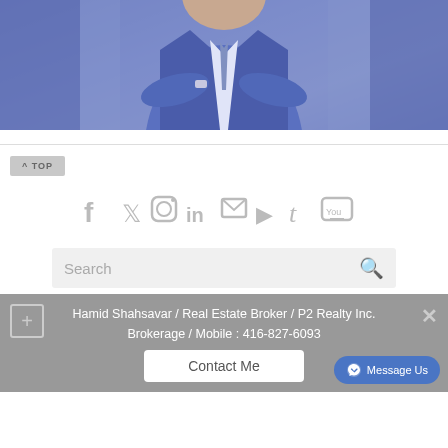[Figure (photo): Professional man in blue suit with arms crossed, blue-toned background]
^ TOP
[Figure (infographic): Social media icons row: Facebook, Twitter, Instagram, LinkedIn, Email, RSS, Tumblr, YouTube]
Search
Hamid Shahsavar / Real Estate Broker / P2 Realty Inc. Brokerage / Mobile : 416-827-6093
Contact Me
Message Us